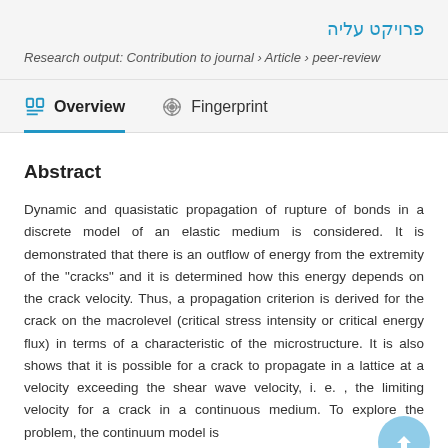פרויקט עליה
Research output: Contribution to journal › Article › peer-review
Overview
Fingerprint
Abstract
Dynamic and quasistatic propagation of rupture of bonds in a discrete model of an elastic medium is considered. It is demonstrated that there is an outflow of energy from the extremity of the "cracks" and it is determined how this energy depends on the crack velocity. Thus, a propagation criterion is derived for the crack on the macrolevel (critical stress intensity or critical energy flux) in terms of a characteristic of the microstructure. It is also shows that it is possible for a crack to propagate in a lattice at a velocity exceeding the shear wave velocity, i. e. , the limiting velocity for a crack in a continuous medium. To explore the problem, the continuum model is...